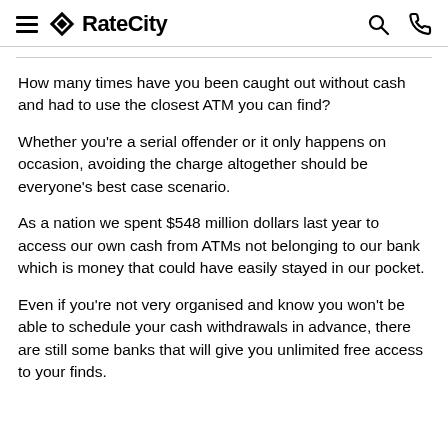RateCity
How many times have you been caught out without cash and had to use the closest ATM you can find?
Whether you’re a serial offender or it only happens on occasion, avoiding the charge altogether should be everyone’s best case scenario.
As a nation we spent $548 million dollars last year to access our own cash from ATMs not belonging to our bank which is money that could have easily stayed in our pocket.
Even if you’re not very organised and know you won’t be able to schedule your cash withdrawals in advance, there are still some banks that will give you unlimited free access to your finds.